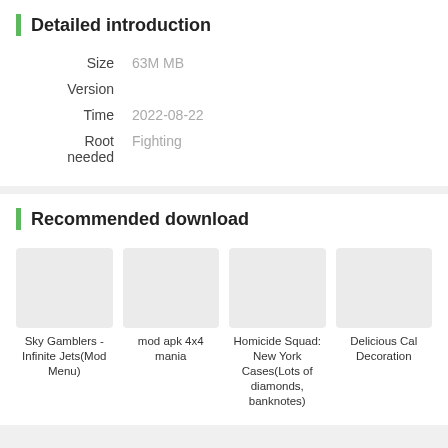Detailed introduction
| Field | Value |
| --- | --- |
| Size | 63M MB |
| Version |  |
| Time | 2022-08-22 |
| Root needed | Fighting |
Recommended download
Sky Gamblers - Infinite Jets(Mod Menu)
mod apk 4x4 mania
Homicide Squad: New York Cases(Lots of diamonds, banknotes)
Delicious Cal Decoration